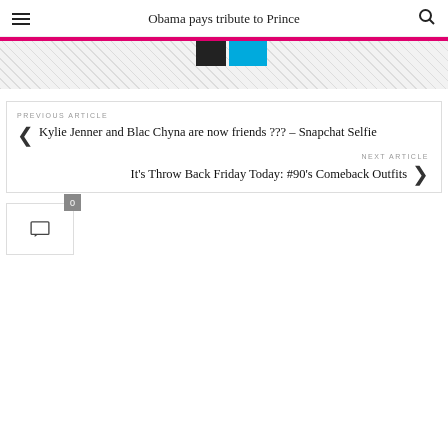Obama pays tribute to Prince
[Figure (screenshot): Partial banner/advertisement with pink top border, dark hatching pattern, and black and blue rectangular blocks]
PREVIOUS ARTICLE
Kylie Jenner and Blac Chyna are now friends ??? – Snapchat Selfie
NEXT ARTICLE
It's Throw Back Friday Today: #90's Comeback Outfits
[Figure (other): Comment widget showing 0 comments with speech bubble icon]